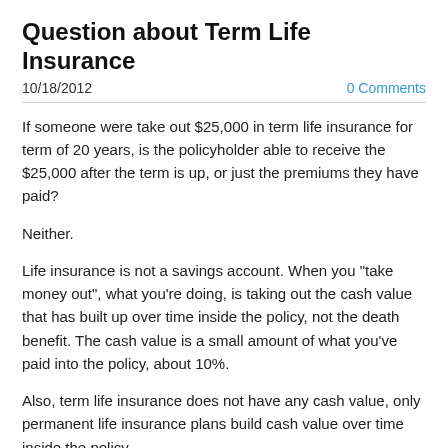Question about Term Life Insurance
10/18/2012
0 Comments
If someone were take out $25,000 in term life insurance for term of 20 years, is the policyholder able to receive the $25,000 after the term is up, or just the premiums they have paid?
Neither.
Life insurance is not a savings account. When you "take money out", what you're doing, is taking out the cash value that has built up over time inside the policy, not the death benefit. The cash value is a small amount of what you've paid into the policy, about 10%.
Also, term life insurance does not have any cash value, only permanent life insurance plans build cash value over time inside the policy.
So, if you buy a permanent life insurance policy, and pay $5,000 a year into it, after five years, you can "borrow" maybe $2,000 out of it. The